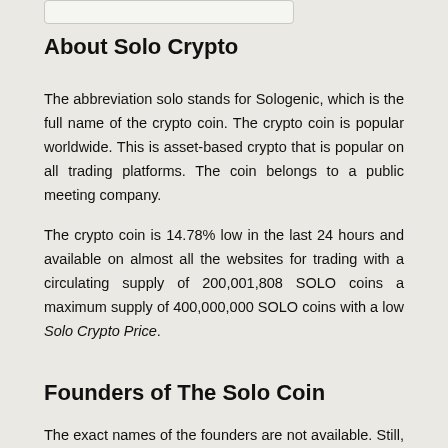About Solo Crypto
The abbreviation solo stands for Sologenic, which is the full name of the crypto coin. The crypto coin is popular worldwide. This is asset-based crypto that is popular on all trading platforms. The coin belongs to a public meeting company.
The crypto coin is 14.78% low in the last 24 hours and available on almost all the websites for trading with a circulating supply of 200,001,808 SOLO coins a maximum supply of 400,000,000 SOLO coins with a low Solo Crypto Price.
Founders of The Solo Coin
The exact names of the founders are not available. Still, it